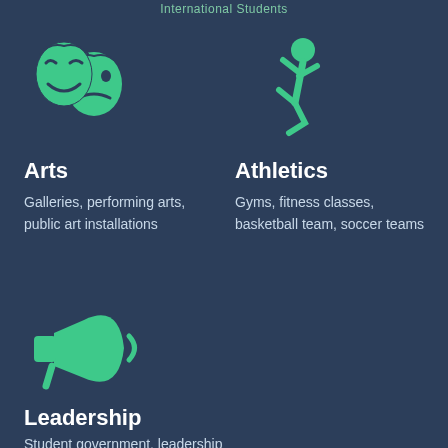International Students
[Figure (illustration): Green theater masks icon (drama/arts)]
Arts
Galleries, performing arts, public art installations
[Figure (illustration): Green running person icon (athletics)]
Athletics
Gyms, fitness classes, basketball team, soccer teams
[Figure (illustration): Green megaphone/bullhorn icon (leadership)]
Leadership
Student government, leadership programs